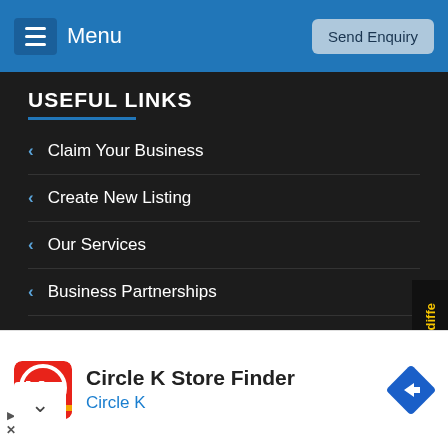Menu | Send Enquiry
USEFUL LINKS
Claim Your Business
Create New Listing
Our Services
Business Partnerships
About Us
CONTACT US
[Figure (screenshot): Circle K Store Finder advertisement with Circle K logo and navigation arrow icon]
Circle K Store Finder
Circle K